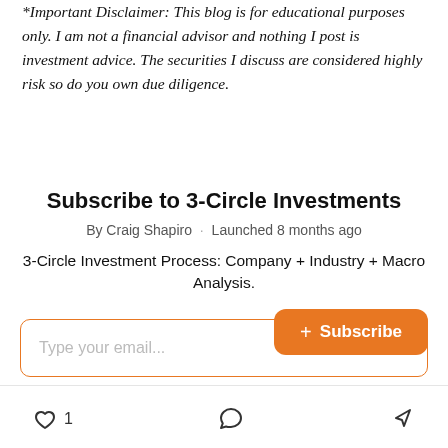*Important Disclaimer: This blog is for educational purposes only. I am not a financial advisor and nothing I post is investment advice. The securities I discuss are considered highly risk so do you own due diligence.
Subscribe to 3-Circle Investments
By Craig Shapiro · Launched 8 months ago
3-Circle Investment Process: Company + Industry + Macro Analysis.
[Figure (other): Email subscription input field with orange border and orange Subscribe button with plus icon]